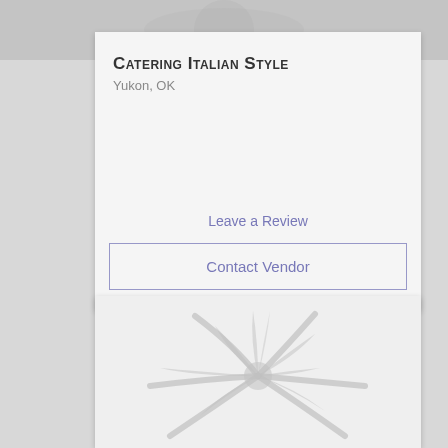[Figure (photo): Gray image strip at top of page, showing a faded decorative background]
Catering Italian Style
Yukon, OK
Leave a Review
Contact Vendor
[Figure (illustration): Faded decorative flower/asterisk illustration on light gray background, placeholder vendor image]